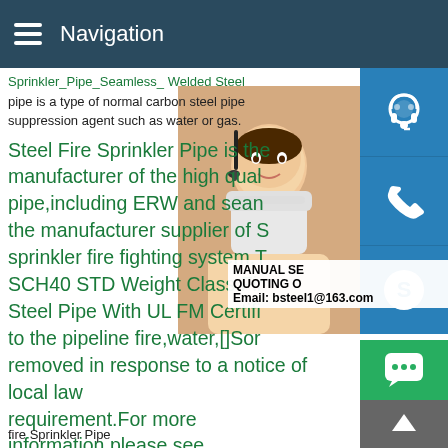Navigation
pipe is a type of normal carbon steel pipe suppression agent such as water or gas.
Steel Fire Sprinkler Pipe is the manufacturer of the high quality pipe,including ERW and seamless the manufacturer supplier of sprinkler fire fighting system. SCH40 STD Weight Class Fire Steel Pipe With UL FM Certified to the pipeline fire,water,[]Some removed in response to a notice of local law requirement.For more information,please see here.12345Next8 Inch Sch40 Fire Fighting Steel Pipes with UL FM Sch40 Groove End FM Fire Fighting Sprinkler Steel Pipe
fire Sprinkler Pipe
[Figure (photo): Woman with headset, customer service photo]
[Figure (screenshot): Sidebar with customer service icons: headset, phone, Skype icons, chat bubble, and up arrow. Overlay text: MANUAL SE, QUOTING O, Email: bsteel1@163.com]